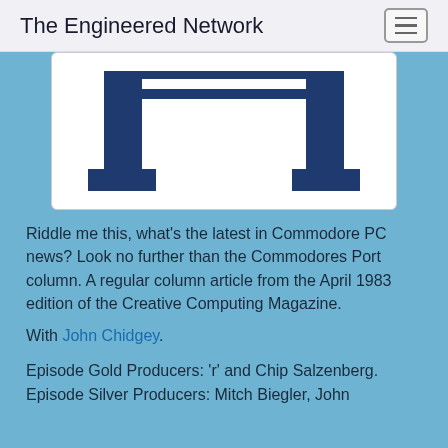The Engineered Network
[Figure (illustration): Podcast or media player logo/illustration showing an H-shaped or table-like structure in dark navy blue on a white card background, partially cropped at top]
Riddle me this, what’s the latest in Commodore PC news? Look no further than the Commodores Port column. A regular column article from the April 1983 edition of the Creative Computing Magazine.
With John Chidgey.
Episode Gold Producers: 'r' and Chip Salzenberg.
Episode Silver Producers: Mitch Biegler, John